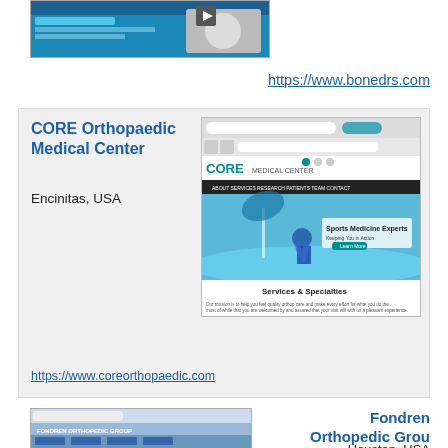[Figure (screenshot): Website screenshot of a medical/orthopedic site with blue background and two people]
https://www.bonedrs.com
[Figure (screenshot): CORE Orthopaedic Medical Center website screenshot showing a kitesurfer and Services & Specialties section]
CORE Orthopaedic Medical Center
Encinitas, USA
https://www.coreorthopaedic.com
[Figure (screenshot): Fondren Orthopedic Group website screenshot]
Fondren Orthopedic Group
Houston, USA